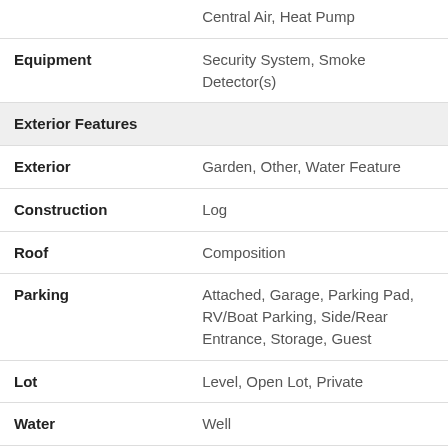|  | Central Air, Heat Pump |
| Equipment | Security System, Smoke Detector(s) |
| Exterior Features |  |
| Exterior | Garden, Other, Water Feature |
| Construction | Log |
| Roof | Composition |
| Parking | Attached, Garage, Parking Pad, RV/Boat Parking, Side/Rear Entrance, Storage, Guest |
| Lot | Level, Open Lot, Private |
| Water | Well |